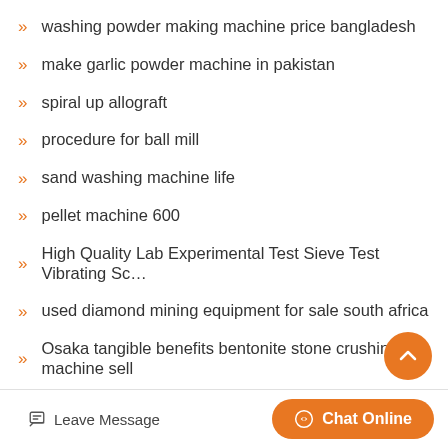washing powder making machine price bangladesh
make garlic powder machine in pakistan
spiral up allograft
procedure for ball mill
sand washing machine life
pellet machine 600
High Quality Lab Experimental Test Sieve Test Vibrating Sc…
used diamond mining equipment for sale south africa
Osaka tangible benefits bentonite stone crushing machine sell
hammers mill buldog pettibone
Leave Message   Chat Online